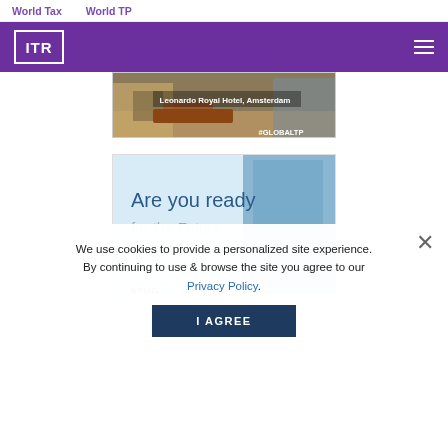World Tax    World TP
[Figure (logo): ITR logo in white on purple background with hamburger menu icon]
[Figure (photo): Banner image of Leonardo Royal Hotel, Amsterdam with #GLOBALTP text]
[Figure (photo): KPMG advertisement banner - Are you ready for the Future of Tax, with building image]
We use cookies to provide a personalized site experience. By continuing to use & browse the site you agree to our Privacy Policy.
I AGREE